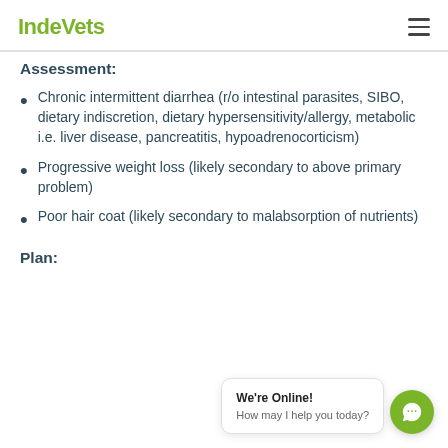IndeVets
Assessment:
Chronic intermittent diarrhea (r/o intestinal parasites, SIBO, dietary indiscretion, dietary hypersensitivity/allergy, metabolic i.e. liver disease, pancreatitis, hypoadrenocorticism)
Progressive weight loss (likely secondary to above primary problem)
Poor hair coat (likely secondary to malabsorption of nutrients)
Plan: